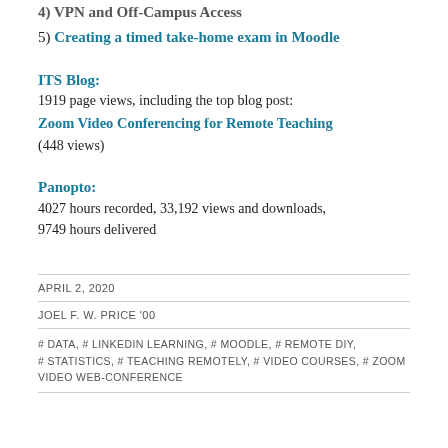4) VPN and Off-Campus Access
5) Creating a timed take-home exam in Moodle
ITS Blog:
1919 page views, including the top blog post:
Zoom Video Conferencing for Remote Teaching
(448 views)
Panopto:
4027 hours recorded, 33,192 views and downloads, 9749 hours delivered
APRIL 2, 2020
JOEL F. W. PRICE '00
# DATA, # LINKEDIN LEARNING, # MOODLE, # REMOTE DIY, # STATISTICS, # TEACHING REMOTELY, # VIDEO COURSES, # ZOOM VIDEO WEB-CONFERENCE